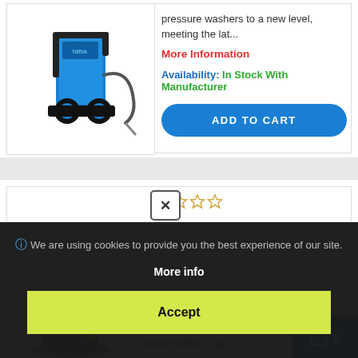[Figure (photo): Blue pressure washer machine on wheels]
pressure washers to a new level, meeting the lat...
More Information
Availability: In Stock With Manufacturer
ADD TO CART
✕
ℹ We are using cookies to provide you the best experience of our site.
More info
Accept
[Figure (photo): Grey steam cleaner machine partially visible at bottom]
with eco!efficiency m... steam function. Stat...
0